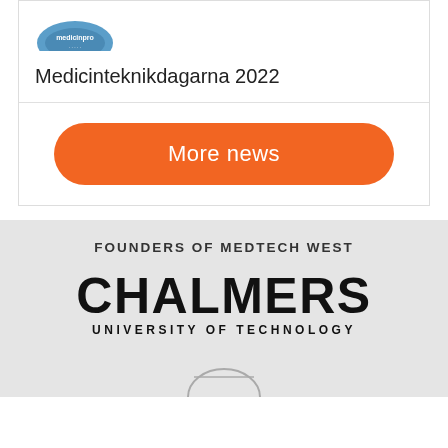[Figure (logo): Small blue semicircle logo at top left of card]
Medicinteknikdagarna 2022
[Figure (other): Orange rounded button with text 'More news']
FOUNDERS OF MEDTECH WEST
[Figure (logo): Chalmers University of Technology logo — bold CHALMERS with UNIVERSITY OF TECHNOLOGY beneath]
[Figure (logo): Partial logo visible at bottom of page]